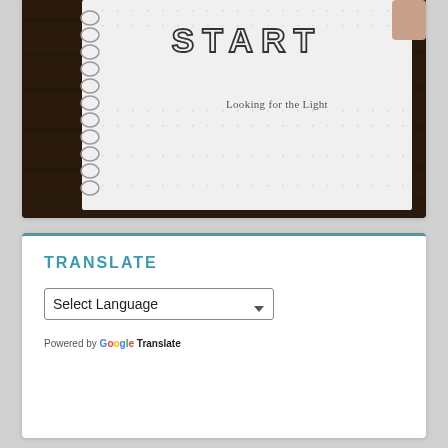[Figure (photo): A spiral-bound notebook on a dark wooden surface. The notebook cover reads 'START' in large outlined letters at the top, and 'Looking for the Light' in smaller text below.]
TRANSLATE
Select Language (dropdown) — Powered by Google Translate